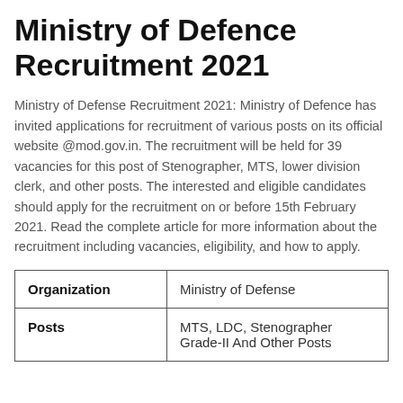Ministry of Defence Recruitment 2021
Ministry of Defense Recruitment 2021: Ministry of Defence has invited applications for recruitment of various posts on its official website @mod.gov.in. The recruitment will be held for 39 vacancies for this post of Stenographer, MTS, lower division clerk, and other posts. The interested and eligible candidates should apply for the recruitment on or before 15th February 2021. Read the complete article for more information about the recruitment including vacancies, eligibility, and how to apply.
| Organization | Posts |
| --- | --- |
| Organization | Ministry of Defense |
| Posts | MTS, LDC, Stenographer Grade-II And Other Posts |